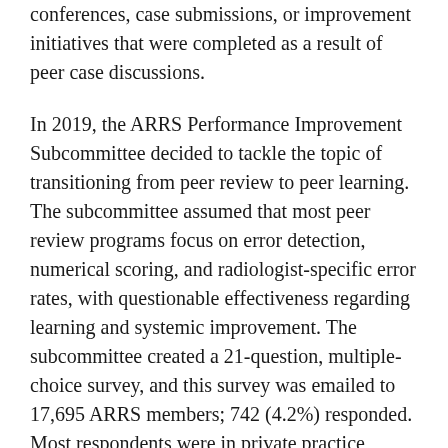conferences, case submissions, or improvement initiatives that were completed as a result of peer case discussions.
In 2019, the ARRS Performance Improvement Subcommittee decided to tackle the topic of transitioning from peer review to peer learning. The subcommittee assumed that most peer review programs focus on error detection, numerical scoring, and radiologist-specific error rates, with questionable effectiveness regarding learning and systemic improvement. The subcommittee created a 21-question, multiple-choice survey, and this survey was emailed to 17,695 ARRS members; 742 (4.2%) responded. Most respondents were in private practice (51.7%, 283/547) with a size of 11–50 radiologists (50.5%) and in an urban setting (61.6%). Significant diversity was noted in several aspects regarding peer